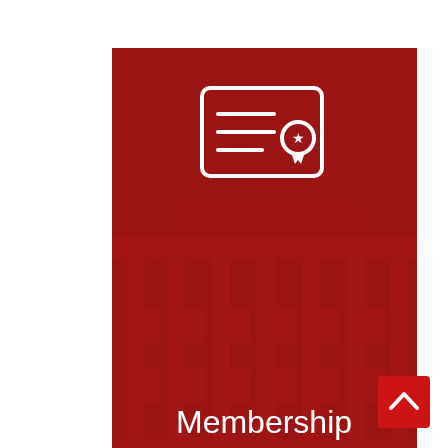[Figure (illustration): Dark red rounded rectangle card with a membership/certificate icon at top center (white outlined certificate with lines and a badge/medal), a faint building facade watermark in the background, and white text reading 'Membership Benefits' centered in the lower half of the card.]
[Figure (illustration): Small red square button with a white upward-pointing chevron/arrow icon, positioned at bottom-right corner of the page.]